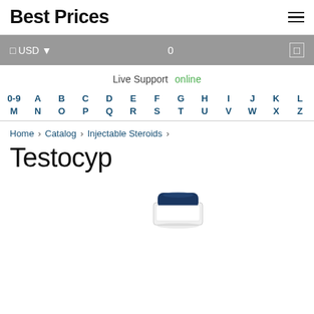Best Prices
$ USD ▾   0   □
Live Support  online
0-9  A  B  C  D  E  F  G  H  I  J  K  L  M  N  O  P  Q  R  S  T  U  V  W  X  Z
Home › Catalog › Injectable Steroids ›
Testocyp
[Figure (photo): Partial view of a medical vial with a dark blue/navy cap, white body, photographed on a white background.]